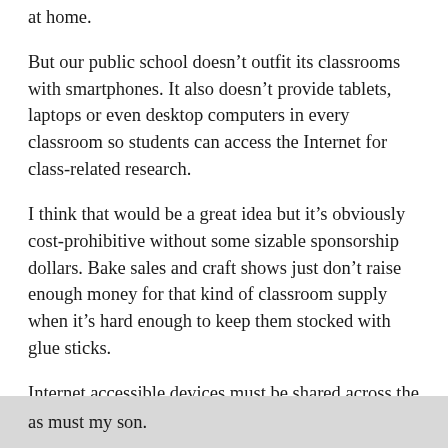at home.
But our public school doesn’t outfit its classrooms with smartphones. It also doesn’t provide tablets, laptops or even desktop computers in every classroom so students can access the Internet for class-related research.
I think that would be a great idea but it’s obviously cost-prohibitive without some sizable sponsorship dollars. Bake sales and craft shows just don’t raise enough money for that kind of classroom supply when it’s hard enough to keep them stocked with glue sticks.
Internet accessible devices must be shared across the whole school when they aren’t already in use for standardized testing. Most classrooms must do without, as must my son.